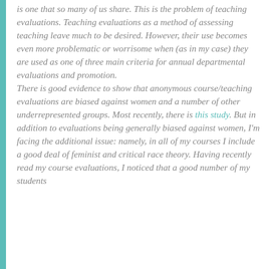is one that so many of us share. This is the problem of teaching evaluations. Teaching evaluations as a method of assessing teaching leave much to be desired. However, their use becomes even more problematic or worrisome when (as in my case) they are used as one of three main criteria for annual departmental evaluations and promotion.

There is good evidence to show that anonymous course/teaching evaluations are biased against women and a number of other underrepresented groups. Most recently, there is this study. But in addition to evaluations being generally biased against women, I'm facing the additional issue: namely, in all of my courses I include a good deal of feminist and critical race theory. Having recently read my course evaluations, I noticed that a good number of my students